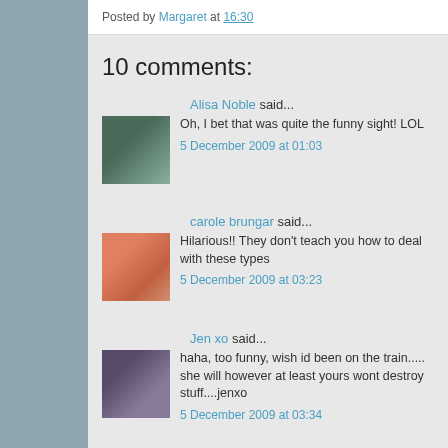Posted by Margaret at 16:30
10 comments:
Alisa Noble said...
Oh, I bet that was quite the funny sight! LOL
5 December 2009 at 01:03
carole brungar said...
Hilarious!! They don't teach you how to deal with these types
5 December 2009 at 03:23
Jen xo said...
haha, too funny, wish id been on the train..... she will however at least yours wont destroy stuff....jenxo
5 December 2009 at 03:34
Linda Jo said...